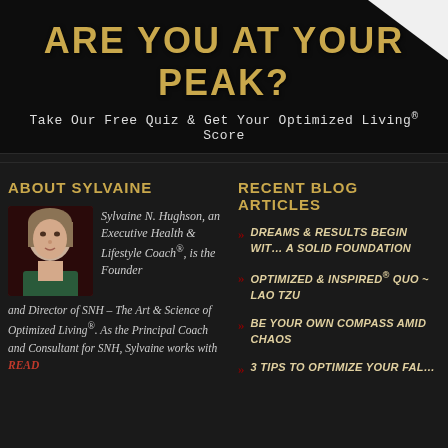ARE YOU AT YOUR PEAK?
Take Our Free Quiz & Get Your Optimized Living® Score
ABOUT SYLVAINE
Sylvaine N. Hughson, an Executive Health & Lifestyle Coach®, is the Founder and Director of SNH – The Art & Science of Optimized Living®. As the Principal Coach and Consultant for SNH, Sylvaine works with READ
RECENT BLOG ARTICLES
DREAMS & RESULTS BEGIN WITH A SOLID FOUNDATION
OPTIMIZED & INSPIRED® QUO ~ LAO TZU
BE YOUR OWN COMPASS AMID CHAOS
3 TIPS TO OPTIMIZE YOUR FAL…